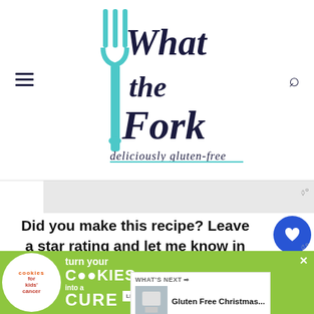What the Fork — deliciously gluten-free
Did you make this recipe? Leave a star rating and let me know in the comments! You can also leave a photo/comment on this pin for others to see.
Peanut butter chocolate chip cookies ... cookie that I grew up eating since they were ...
[Figure (infographic): Advertisement banner: cookies for kids cancer — turn your COOKIES into a CURE LEARN HOW]